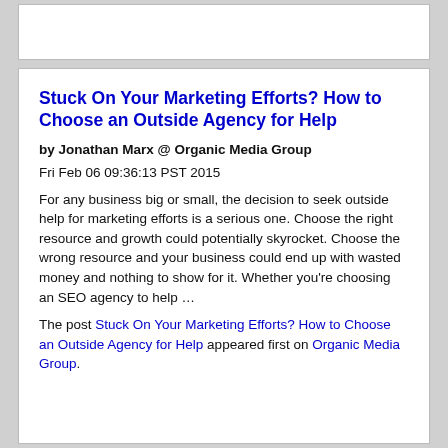Stuck On Your Marketing Efforts? How to Choose an Outside Agency for Help
by Jonathan Marx @ Organic Media Group
Fri Feb 06 09:36:13 PST 2015
For any business big or small, the decision to seek outside help for marketing efforts is a serious one. Choose the right resource and growth could potentially skyrocket. Choose the wrong resource and your business could end up with wasted money and nothing to show for it. Whether you're choosing an SEO agency to help …
The post Stuck On Your Marketing Efforts? How to Choose an Outside Agency for Help appeared first on Organic Media Group.